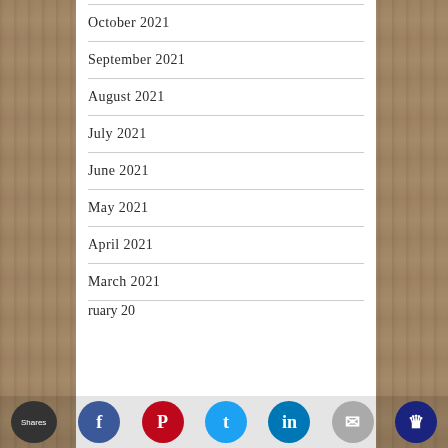October 2021
September 2021
August 2021
July 2021
June 2021
May 2021
April 2021
March 2021
February 20…